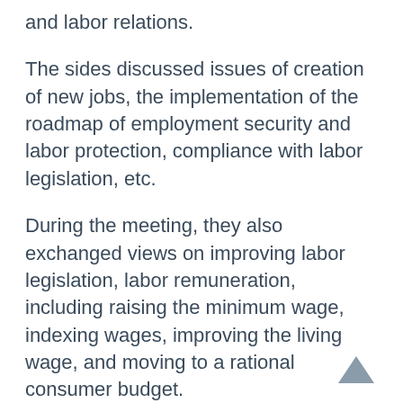and labor relations.
The sides discussed issues of creation of new jobs, the implementation of the roadmap of employment security and labor protection, compliance with labor legislation, etc.
During the meeting, they also exchanged views on improving labor legislation, labor remuneration, including raising the minimum wage, indexing wages, improving the living wage, and moving to a rational consumer budget.
Chairman of the FTURK S. Dauletalin also raised the issue of the need to ratify the ILO conventions and provide timely and competent